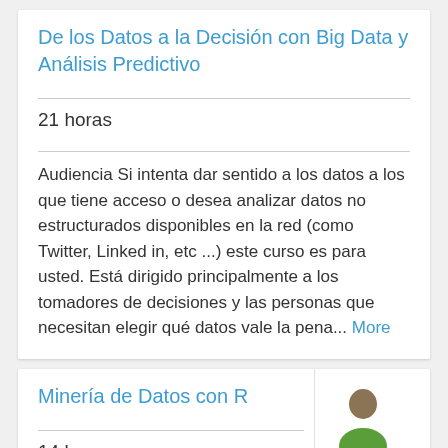De los Datos a la Decisión con Big Data y Análisis Predictivo
21 horas
Audiencia Si intenta dar sentido a los datos a los que tiene acceso o desea analizar datos no estructurados disponibles en la red (como Twitter, Linked in, etc ...) este curso es para usted. Está dirigido principalmente a los tomadores de decisiones y las personas que necesitan elegir qué datos vale la pena... More
Minería de Datos con R
14 horas
R es un lenguaje de programación libre de código abierto para computación estadística, análisis de